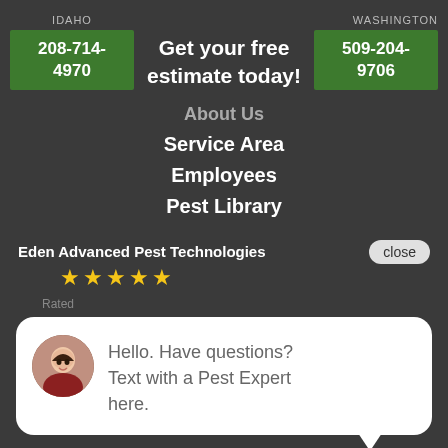IDAHO
208-714-4970
Get your free estimate today!
WASHINGTON
509-204-9706
About Us
Service Area
Employees
Pest Library
Eden Advanced Pest Technologies
close
[Figure (other): Five yellow star rating icons]
Rated
[Figure (photo): Circular avatar photo of a smiling woman in a red top]
Hello. Have questions? Text with a Pest Expert here.
SERVICES
Commercial